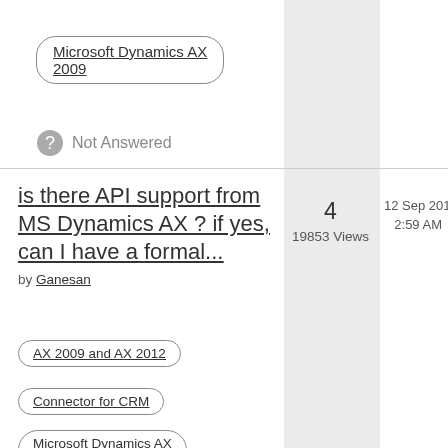Microsoft Dynamics AX 2009
Not Answered
is there API support from MS Dynamics AX ? if yes, can I have a formal...
by Ganesan
4
19853 Views
12 Sep 2014
2:59 AM
AX 2009 and AX 2012
Connector for CRM
Microsoft Dynamics AX 2009